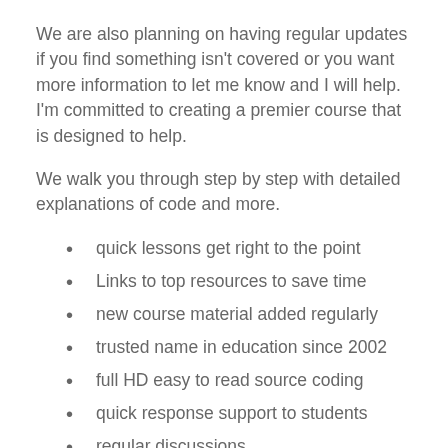We are also planning on having regular updates if you find something isn't covered or you want more information to let me know and I will help. I'm committed to creating a premier course that is designed to help.
We walk you through step by step with detailed explanations of code and more.
quick lessons get right to the point
Links to top resources to save time
new course material added regularly
trusted name in education since 2002
full HD easy to read source coding
quick response support to students
regular discussions
Everyone and anyone can benefit from this course. Anyone can make extra income online we share the